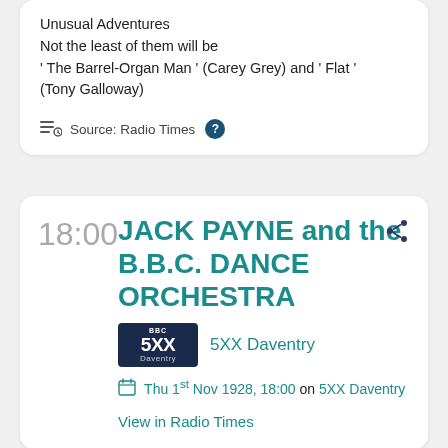Unusual Adventures
Not the least of them will be
' The Barrel-Organ Man ' (Carey Grey) and ' Flat '
(Tony Galloway)
Source: Radio Times ?
18:00
JACK PAYNE and the B.B.C. DANCE ORCHESTRA
[Figure (logo): BBC 5XX Daventry station logo, dark navy background with BBC text and 5XX Daventry label]
5XX Daventry
Thu 1st Nov 1928, 18:00 on 5XX Daventry
View in Radio Times